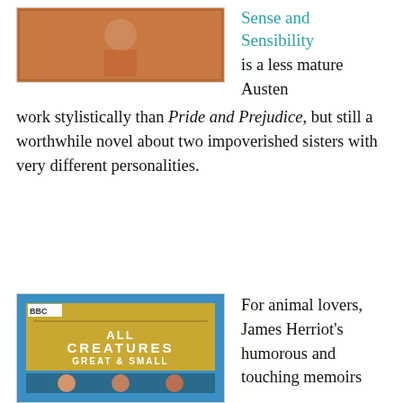[Figure (photo): Book cover image for Sense and Sensibility, showing an orange/warm-toned illustration with a figure]
Sense and Sensibility
is a less mature Austen work stylistically than Pride and Prejudice, but still a worthwhile novel about two impoverished sisters with very different personalities.
[Figure (photo): BBC DVD box set cover for All Creatures Great & Small: The Complete Collection, with gold and blue design and cast photos]
For animal lovers, James Herriot's humorous and touching memoirs